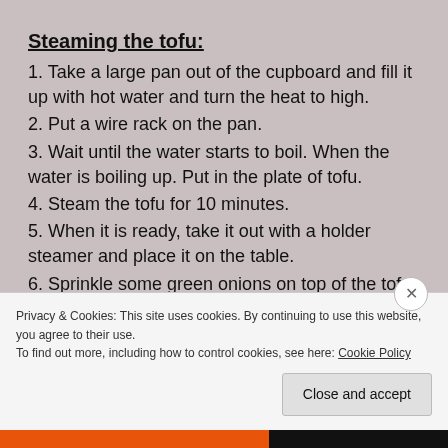Steaming the tofu:
1. Take a large pan out of the cupboard and fill it up with hot water and turn the heat to high.
2. Put a wire rack on the pan.
3. Wait until the water starts to boil. When the water is boiling up. Put in the plate of tofu.
4. Steam the tofu for 10 minutes.
5. When it is ready, take it out with a holder steamer and place it on the table.
6. Sprinkle some green onions on top of the tofu.
7. Enjoy.
Privacy & Cookies: This site uses cookies. By continuing to use this website, you agree to their use.
To find out more, including how to control cookies, see here: Cookie Policy
Close and accept